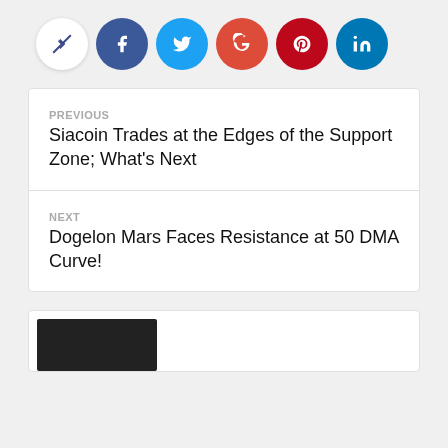[Figure (other): Row of social share buttons: share (white), Facebook (dark blue), Twitter (light blue), Google+ (orange-red), Pinterest (dark red), LinkedIn (teal blue)]
PREVIOUS
Siacoin Trades at the Edges of the Support Zone; What's Next
NEXT
Dogelon Mars Faces Resistance at 50 DMA Curve!